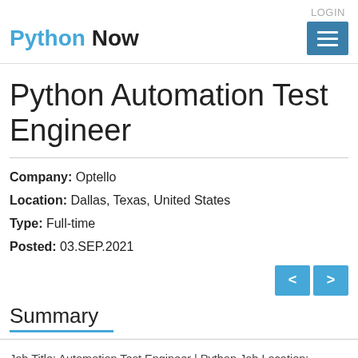LOGIN
Python Now
Python Automation Test Engineer
Company: Optello
Location: Dallas, Texas, United States
Type: Full-time
Posted: 03.SEP.2021
Summary
Job Title: Automation Test Engineer | Python Job Location: